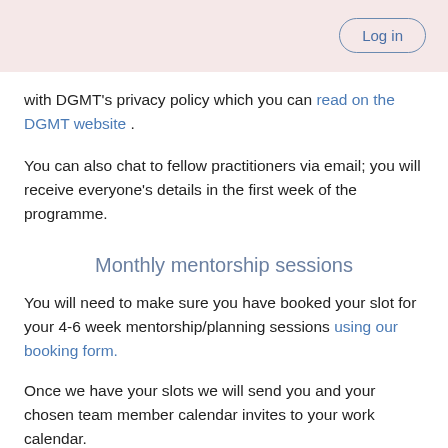Log in
with DGMT's privacy policy which you can read on the DGMT website .
You can also chat to fellow practitioners via email; you will receive everyone's details in the first week of the programme.
Monthly mentorship sessions
You will need to make sure you have booked your slot for your 4-6 week mentorship/planning sessions using our booking form.
Once we have your slots we will send you and your chosen team member calendar invites to your work calendar.